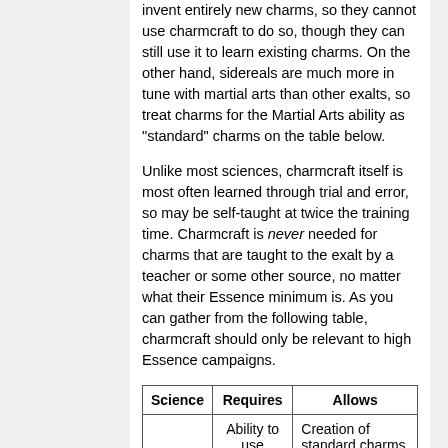invent entirely new charms, so they cannot use charmcraft to do so, though they can still use it to learn existing charms. On the other hand, sidereals are much more in tune with martial arts than other exalts, so treat charms for the Martial Arts ability as "standard" charms on the table below.
Unlike most sciences, charmcraft itself is most often learned through trial and error, so may be self-taught at twice the training time. Charmcraft is never needed for charms that are taught to the exalt by a teacher or some other source, no matter what their Essence minimum is. As you can gather from the following table, charmcraft should only be relevant to high Essence campaigns.
| Science | Requires | Allows |
| --- | --- | --- |
|  | Ability to use | Creation of standard charms requiring Essence 5 or less. |